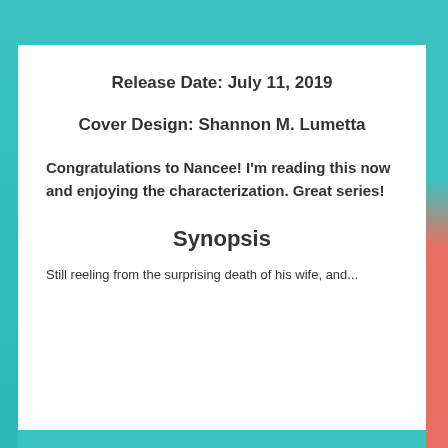Release Date: July 11, 2019
Cover Design: Shannon M. Lumetta
Congratulations to Nancee! I’m reading this now and enjoying the characterization. Great series!
Synopsis
Still reeling from the surprising death of his wife, and...